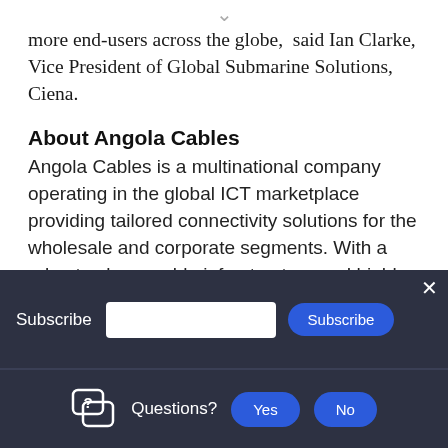more end-users across the globe,  said Ian Clarke, Vice President of Global Submarine Solutions, Ciena.
About Angola Cables
Angola Cables is a multinational company operating in the global ICT marketplace providing tailored connectivity solutions for the wholesale and corporate segments. With a robust subsea cable infrastructure and highly interconnected IP network, Angola Cables offers customers greater access to the world's largest IXP´s, Tier 1 operators and global content providers. Through SACS, Monet and WACS submarine cable systems the company directly connects the Americas, Africa, and
Subscribe
Subscribe
Questions?
Yes
No